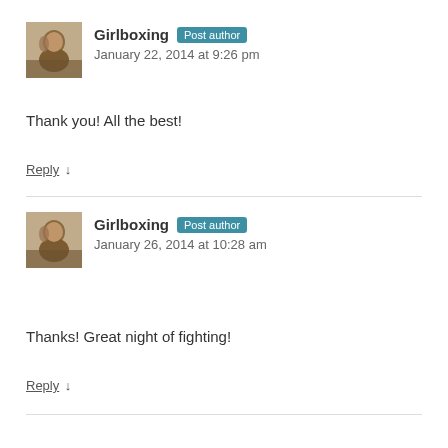Girlboxing Post author
January 22, 2014 at 9:26 pm
Thank you! All the best!
Reply ↓
Girlboxing Post author
January 26, 2014 at 10:28 am
Thanks! Great night of fighting!
Reply ↓